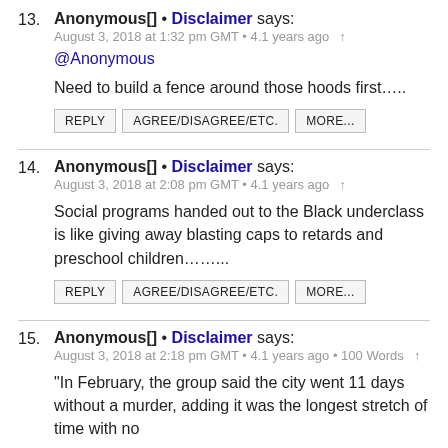13. Anonymous[] • Disclaimer says:
August 3, 2018 at 1:32 pm GMT • 4.1 years ago ↑
@Anonymous

Need to build a fence around those hoods first…..
14. Anonymous[] • Disclaimer says:
August 3, 2018 at 2:08 pm GMT • 4.1 years ago ↑

Social programs handed out to the Black underclass is like giving away blasting caps to retards and preschool children……..
15. Anonymous[] • Disclaimer says:
August 3, 2018 at 2:18 pm GMT • 4.1 years ago • 100 Words ↑

"In February, the group said the city went 11 days without a murder, adding it was the longest stretch of time with no